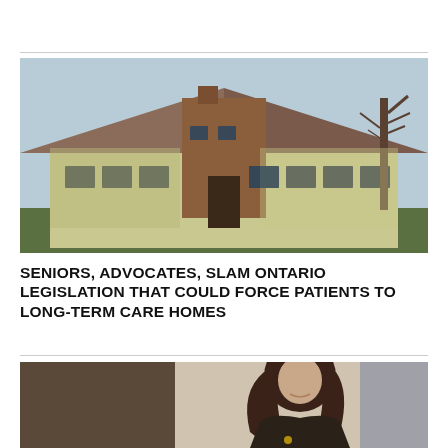[Figure (photo): Exterior of a long-term care home building with brick chimney/entrance, wood paneling siding, bare trees, and windows showing a winter or early spring day.]
SENIORS, ADVOCATES, SLAM ONTARIO LEGISLATION THAT COULD FORCE PATIENTS TO LONG-TERM CARE HOMES
[Figure (photo): Portrait photo of a dark-haired woman smiling, wearing a dark jacket with a brooch, photographed in a professional setting with neutral background.]